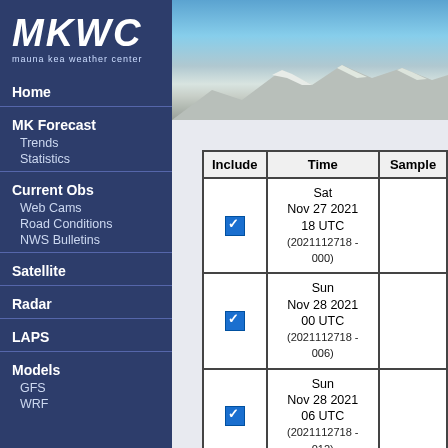[Figure (logo): MKWC - Mauna Kea Weather Center logo with white text on dark blue background]
[Figure (photo): Mountain summit photo showing snow-covered Mauna Kea with blue sky]
Home
MK Forecast
Trends
Statistics
Current Obs
Web Cams
Road Conditions
NWS Bulletins
Satellite
Radar
LAPS
Models
GFS
WRF
| Include | Time | Sample |
| --- | --- | --- |
| ☑ | Sat
Nov 27 2021
18 UTC
(2021112718 - 000) |  |
| ☑ | Sun
Nov 28 2021
00 UTC
(2021112718 - 006) |  |
| ☑ | Sun
Nov 28 2021
06 UTC
(2021112718 - 012) |  |
| ☑ | Sun
Nov 28 2021
12 UTC
(2021112718 - 018) |  |